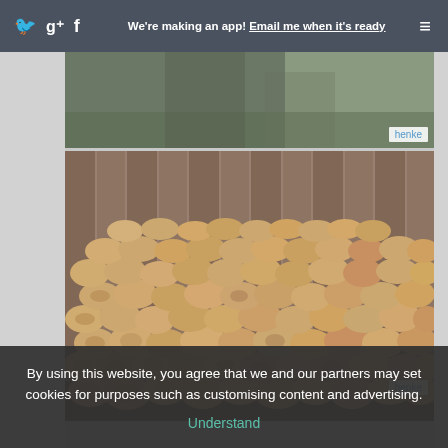We're making an app! Email me when it's ready
[Figure (photo): Partial photo of a person standing, cropped at top, with watermark label 'henke']
[Figure (photo): Large stack of chopped firewood logs viewed from the end, showing circular cross-sections, stacked in front of a wooden fence. Watermark label 'henke' in bottom right.]
[Figure (photo): Partial bottom of another image, cropped]
By using this website, you agree that we and our partners may set cookies for purposes such as customising content and advertising. Understand